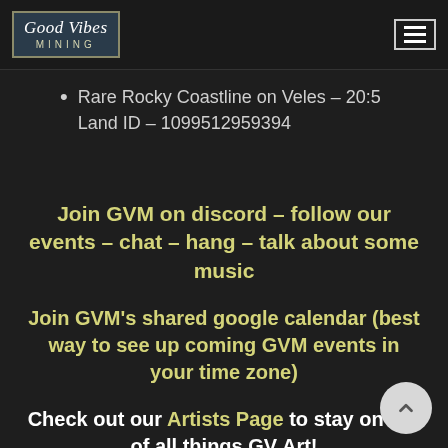Good Vibes Mining
Rare Rocky Coastline on Veles – 20:5 Land ID – 1099512959394
Join GVM on discord – follow our events – chat – hang – talk about some music
Join GVM's shared google calendar (best way to see up coming GVM events in your time zone)
Check out our Artists Page to stay on top of all things GV Art!